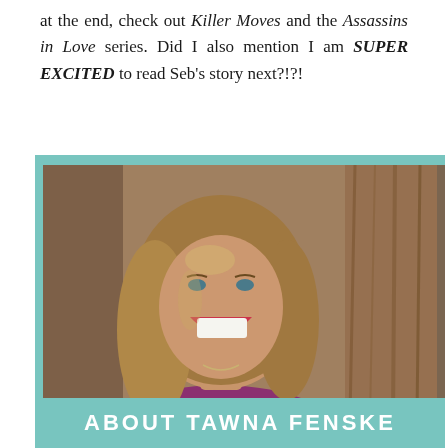at the end, check out Killer Moves and the Assassins in Love series. Did I also mention I am SUPER EXCITED to read Seb's story next?!?!
[Figure (photo): Author photo: a smiling laughing woman with long brown/blonde hair, wearing a magenta top, photographed outdoors in front of a tree. Photo is set inside a teal/turquoise background panel.]
ABOUT TAWNA FENSKE